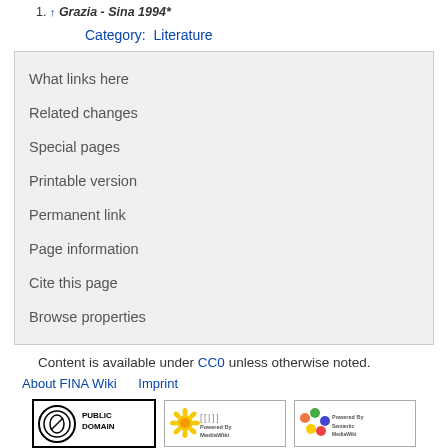1. ^ Grazia - Sina 1994*
Category: Literature
What links here
Related changes
Special pages
Printable version
Permanent link
Page information
Cite this page
Browse properties
Content is available under CC0 unless otherwise noted.
About FINA Wiki   Imprint
[Figure (logo): Three badges: Public Domain CC0, Powered by MediaWiki, Powered by Semantic MediaWiki]